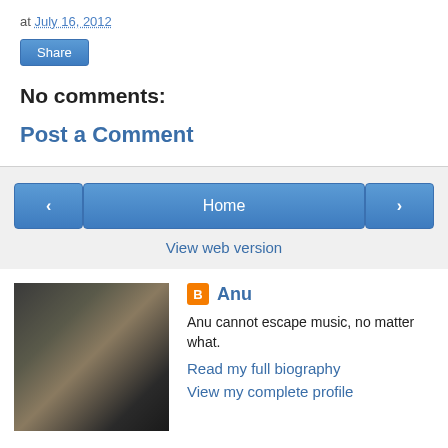at July 16, 2012
Share
No comments:
Post a Comment
Home
View web version
Anu
Anu cannot escape music, no matter what.
Read my full biography
View my complete profile
Powered by Blogger.